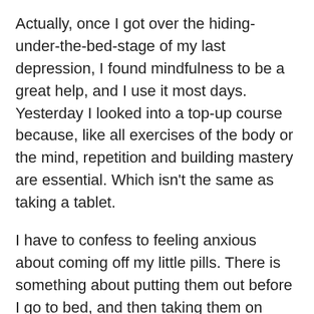Actually, once I got over the hiding-under-the-bed-stage of my last depression, I found mindfulness to be a great help, and I use it most days. Yesterday I looked into a top-up course because, like all exercises of the body or the mind, repetition and building mastery are essential. Which isn't the same as taking a tablet.
I have to confess to feeling anxious about coming off my little pills. There is something about putting them out before I go to bed, and then taking them on waking in the morning, that helps me remember my own fragility. It is a little daily act of self care. I might forget to floss my teeth, but I have never forgotten to take my medication.
People like me who experience depression have a tendency to be extremely hard on ourselves. I've written about this here and here. Medication prescribed by a